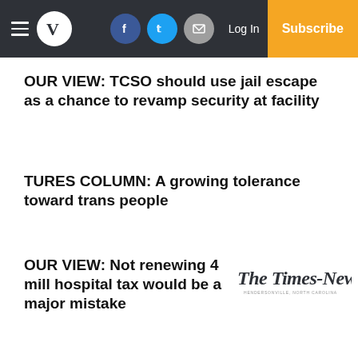V | Facebook | Twitter | Mail | Log In | Subscribe
OUR VIEW: TCSO should use jail escape as a chance to revamp security at facility
TURES COLUMN: A growing tolerance toward trans people
OUR VIEW: Not renewing 4 mill hospital tax would be a major mistake
[Figure (logo): The Times-News newspaper logo in blackletter script]